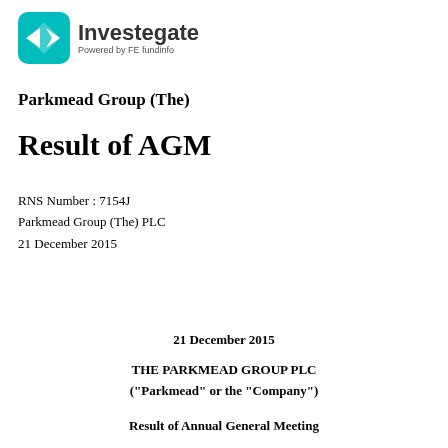[Figure (logo): Investegate logo with teal diamond icon and text 'Investegate - Powered by FE fundinfo']
Parkmead Group (The)
Result of AGM
RNS Number : 7154J
Parkmead Group (The) PLC
21 December 2015
21 December 2015
THE PARKMEAD GROUP PLC
("Parkmead" or the "Company")
Result of Annual General Meeting